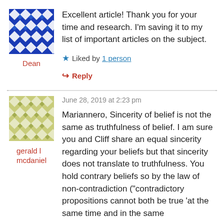[Figure (illustration): Blue geometric/quilted pattern avatar image for user Dean]
Dean
Excellent article! Thank you for your time and research. I'm saving it to my list of important articles on the subject.
★ Liked by 1 person
↳ Reply
[Figure (illustration): Olive/yellow-green geometric/quilted pattern avatar image for user gerald l mcdaniel]
gerald l mcdaniel
June 28, 2019 at 2:23 pm
Mariannero, Sincerity of belief is not the same as truthfulness of belief. I am sure you and Cliff share an equal sincerity regarding your beliefs but that sincerity does not translate to truthfulness. You hold contrary beliefs so by the law of non-contradiction ("contradictory propositions cannot both be true 'at the same time and in the same